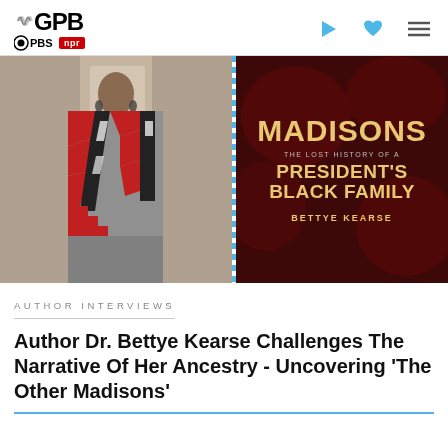GPB | PBS | NPR
[Figure (photo): Composite image: left side shows a woman wearing a geometric patterned coat in red, black, white, and gray standing indoors. Right side shows a book cover with dark red background reading 'MADISONS: The Lost History of a President's Black Family' by Bettye Kearse.]
AUTHOR INTERVIEWS
Author Dr. Bettye Kearse Challenges The Narrative Of Her Ancestry - Uncovering 'The Other Madisons'